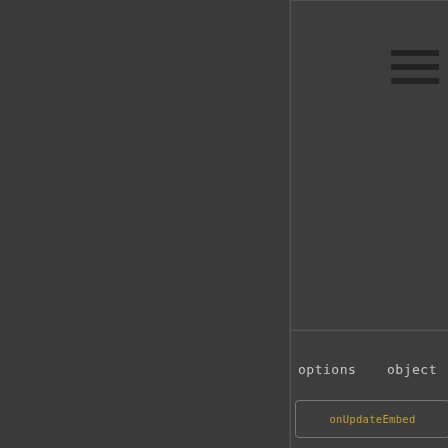[Figure (screenshot): Dark-themed API documentation page showing a table with parameter names and types. A hamburger menu icon is visible in the top-right of the right panel. Two rows are partially visible: 'options' with type 'object', and 'userId' with type 'string'. At the bottom, a partially visible button labeled 'onUpdateEmbed' is shown in orange/gold color.]
options   object
userId   string
onUpdateEmbed